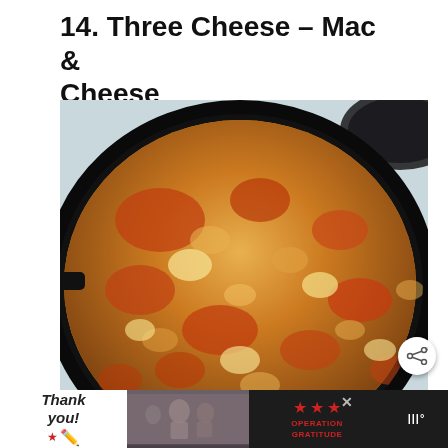14. Three Cheese – Mac & Cheese
[Figure (photo): A cast iron skillet filled with baked three-cheese mac and cheese, showing a golden-brown and red-orange toasted breadcrumb and cheese topping with melted cheese visible underneath. A second dark pan is partially visible in the upper right corner. The skillet rests on a light blue surface.]
[Figure (other): Advertisement banner: 'Thank you!' text with American flag star, military personnel photo in background, Operation Gratitude logo with star, and weather widget icon on dark background.]